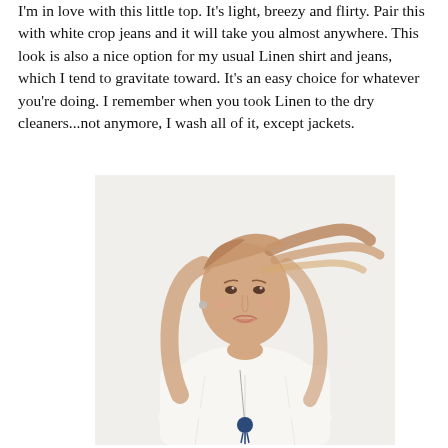I'm in love with this little top. It's light, breezy and flirty. Pair this with white crop jeans and it will take you almost anywhere. This look is also a nice option for my usual Linen shirt and jeans, which I tend to gravitate toward. It's an easy choice for whatever you're doing. I remember when you took Linen to the dry cleaners...not anymore, I wash all of it, except jackets.
[Figure (photo): A woman with long auburn/blonde hair wearing a white linen button-down shirt with a long navy tassel necklace, photographed against a white background.]